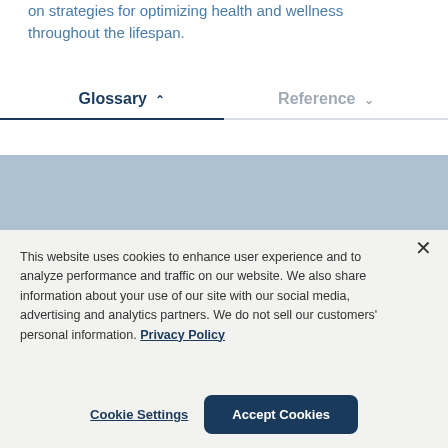on strategies for optimizing health and wellness throughout the lifespan.
Glossary ^ Reference v
[Figure (screenshot): Blue-gray background section representing a content area below the Glossary/Reference tab navigation]
This website uses cookies to enhance user experience and to analyze performance and traffic on our website. We also share information about your use of our site with our social media, advertising and analytics partners. We do not sell our customers' personal information. Privacy Policy
Cookie Settings  Accept Cookies